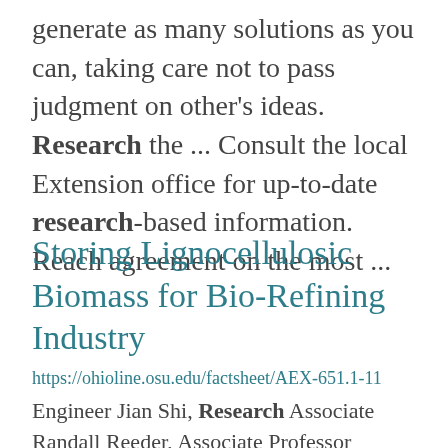generate as many solutions as you can, taking care not to pass judgment on other's ideas. Research the ... Consult the local Extension office for up-to-date research-based information. Reach agreement on the most ...
Storing Lignocellulosic Biomass for Bio-Refining Industry
https://ohioline.osu.edu/factsheet/AEX-651.1-11 Engineer Jian Shi, Research Associate Randall Reeder, Associate Professor partment of Food, Agricultural ... for storing biomass for biorefining. Currently,